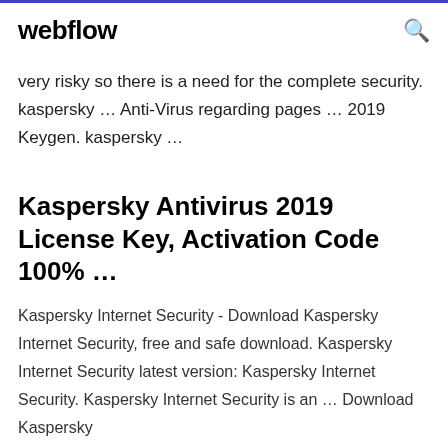webflow
very risky so there is a need for the complete security. kaspersky ... Anti-Virus regarding pages ... 2019 Keygen. kaspersky ...
Kaspersky Antivirus 2019 License Key, Activation Code 100% ...
Kaspersky Internet Security - Download Kaspersky Internet Security, free and safe download. Kaspersky Internet Security latest version: Kaspersky Internet Security. Kaspersky Internet Security is an ... Download Kaspersky